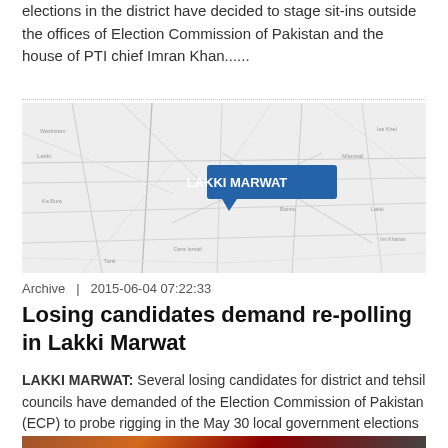elections in the district have decided to stage sit-ins outside the offices of Election Commission of Pakistan and the house of PTI chief Imran Khan......
[Figure (map): Map showing location of Lakki Marwat district in Pakistan, with a blue callout label reading 'LAKKI MARWAT']
Archive  |  2015-06-04 07:22:33
Losing candidates demand re-polling in Lakki Marwat
LAKKI MARWAT: Several losing candidates for district and tehsil councils have demanded of the Election Commission of Pakistan (ECP) to probe rigging in the May 30 local government elections and order......
[Figure (photo): Partial photo visible at the bottom of the page, cropped off]